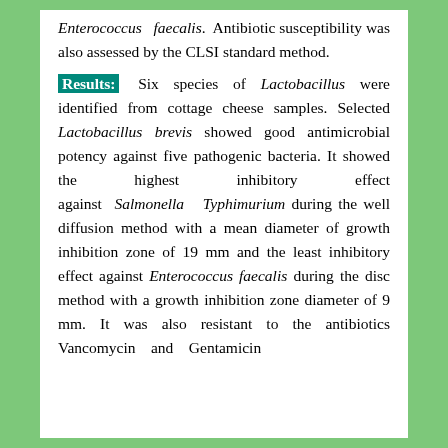Enterococcus faecalis. Antibiotic susceptibility was also assessed by the CLSI standard method.
Results: Six species of Lactobacillus were identified from cottage cheese samples. Selected Lactobacillus brevis showed good antimicrobial potency against five pathogenic bacteria. It showed the highest inhibitory effect against Salmonella Typhimurium during the well diffusion method with a mean diameter of growth inhibition zone of 19 mm and the least inhibitory effect against Enterococcus faecalis during the disc method with a growth inhibition zone diameter of 9 mm. It was also resistant to the antibiotics Vancomycin and Gentamicin